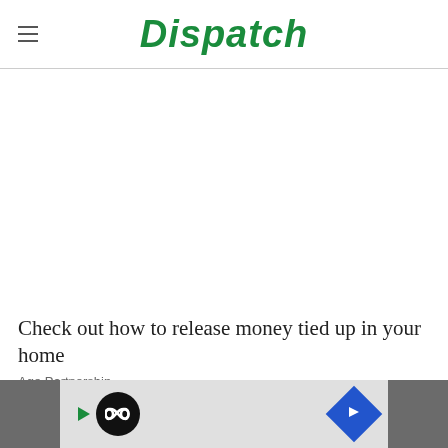Dispatch
[Figure (other): Advertisement placeholder area (blank white space)]
Check out how to release money tied up in your home
Age Partnership
[Figure (other): Bottom advertisement bar with play button, infinity loop icon, and navigation arrow on dark side panels]